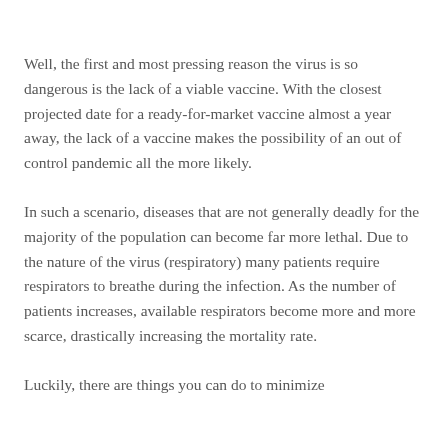Well, the first and most pressing reason the virus is so dangerous is the lack of a viable vaccine. With the closest projected date for a ready-for-market vaccine almost a year away, the lack of a vaccine makes the possibility of an out of control pandemic all the more likely.
In such a scenario, diseases that are not generally deadly for the majority of the population can become far more lethal. Due to the nature of the virus (respiratory) many patients require respirators to breathe during the infection. As the number of patients increases, available respirators become more and more scarce, drastically increasing the mortality rate.
Luckily, there are things you can do to minimize